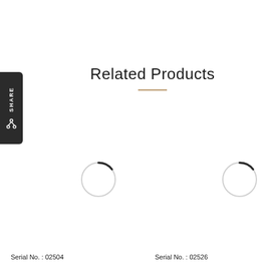[Figure (other): Dark rounded rectangle share button on the left edge with 'SHARE' text rotated vertically and a share/fork icon below]
Related Products
[Figure (other): Loading spinner circle (partially filled arc, top-right dark segment) for left product]
[Figure (other): Loading spinner circle (partially filled arc, top-right dark segment) for right product]
Serial No. : 02504
Serial No. : 02526